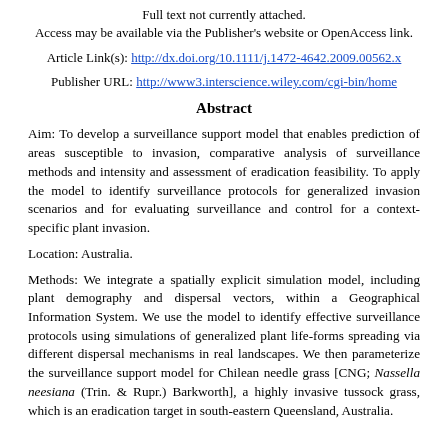Full text not currently attached.
Access may be available via the Publisher's website or OpenAccess link.
Article Link(s): http://dx.doi.org/10.1111/j.1472-4642.2009.00562.x
Publisher URL: http://www3.interscience.wiley.com/cgi-bin/home
Abstract
Aim: To develop a surveillance support model that enables prediction of areas susceptible to invasion, comparative analysis of surveillance methods and intensity and assessment of eradication feasibility. To apply the model to identify surveillance protocols for generalized invasion scenarios and for evaluating surveillance and control for a context-specific plant invasion.
Location: Australia.
Methods: We integrate a spatially explicit simulation model, including plant demography and dispersal vectors, within a Geographical Information System. We use the model to identify effective surveillance protocols using simulations of generalized plant life-forms spreading via different dispersal mechanisms in real landscapes. We then parameterize the surveillance support model for Chilean needle grass [CNG; Nassella neesiana (Trin. & Rupr.) Barkworth], a highly invasive tussock grass, which is an eradication target in south-eastern Queensland, Australia.